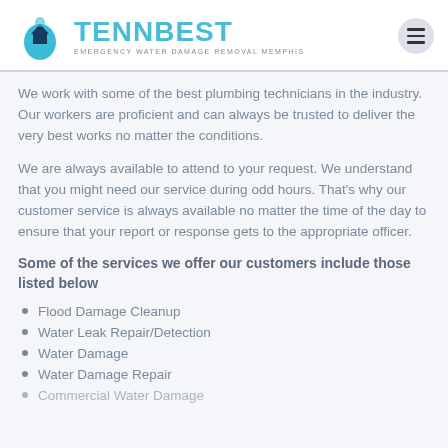[Figure (logo): TennBest Emergency Water Damage Removal Memphis logo with water drop and house icon]
We work with some of the best plumbing technicians in the industry. Our workers are proficient and can always be trusted to deliver the very best works no matter the conditions.
We are always available to attend to your request. We understand that you might need our service during odd hours. That's why our customer service is always available no matter the time of the day to ensure that your report or response gets to the appropriate officer.
Some of the services we offer our customers include those listed below
Flood Damage Cleanup
Water Leak Repair/Detection
Water Damage
Water Damage Repair
Commercial Water Damage